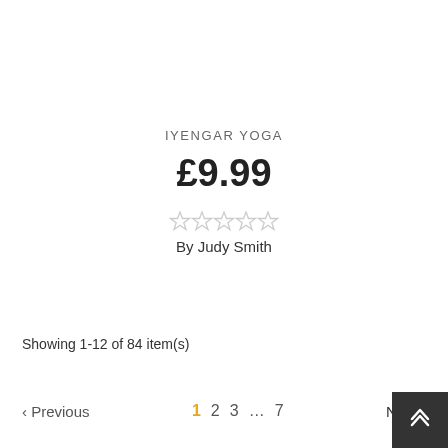IYENGAR YOGA
£9.99
[Figure (other): Five empty star rating icons in light gray]
By Judy Smith
Showing 1-12 of 84 item(s)
‹ Previous  1  2  3  …  7  Next ›